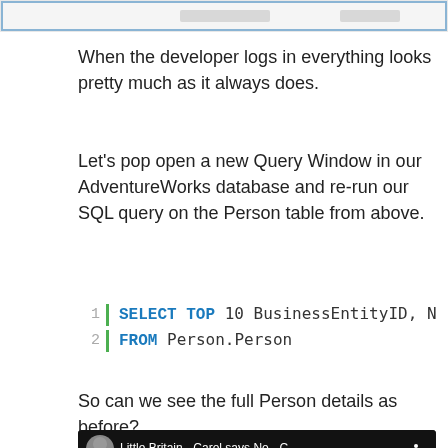[Figure (screenshot): Top portion of a SQL Server Management Studio screenshot (partially visible, cropped at top of page)]
When the developer logs in everything looks pretty much as it always does.
Let’s pop open a new Query Window in our AdventureWorks database and re-run our SQL query on the Person table from above.
So can we see the full Person details as before?
[Figure (screenshot): YouTube video thumbnail showing 'Little Britain - Carol says No - C...' with a play button overlay]